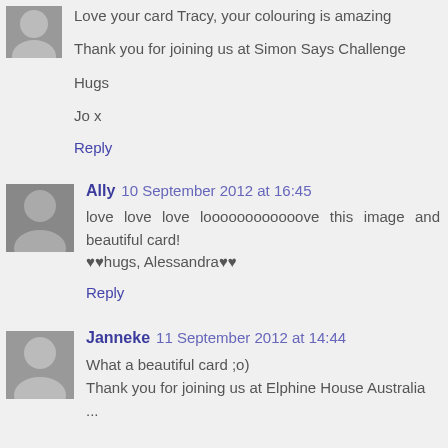Love your card Tracy, your colouring is amazing

Thank you for joining us at Simon Says Challenge

Hugs

Jo x
Reply
Ally 10 September 2012 at 16:45
love love love loooooooooooove this image and beautiful card!
♥♥hugs, Alessandra♥♥
Reply
Janneke 11 September 2012 at 14:44
What a beautiful card ;o)
Thank you for joining us at Elphine House Australia ...